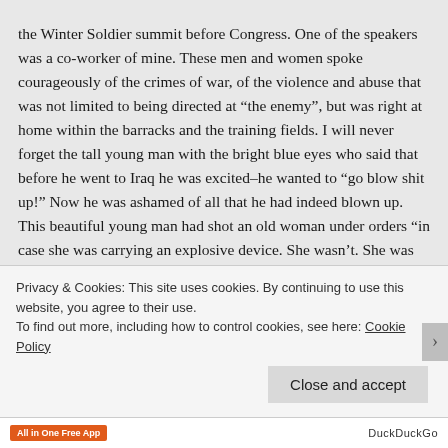the Winter Soldier summit before Congress. One of the speakers was a co-worker of mine. These men and women spoke courageously of the crimes of war, of the violence and abuse that was not limited to being directed at “the enemy”, but was right at home within the barracks and the training fields. I will never forget the tall young man with the bright blue eyes who said that before he went to Iraq he was excited–he wanted to “go blow shit up!” Now he was ashamed of all that he had indeed blown up. This beautiful young man had shot an old woman under orders “in case she was carrying an explosive device. She wasn’t. She was just an old woman on her way somewhere and I shot her dead, bleeding out in the street.” I have read about the work of
Privacy & Cookies: This site uses cookies. By continuing to use this website, you agree to their use.
To find out more, including how to control cookies, see here: Cookie Policy
Close and accept